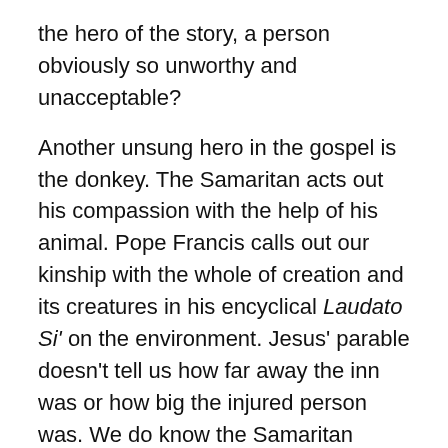the hero of the story, a person obviously so unworthy and unacceptable?
Another unsung hero in the gospel is the donkey. The Samaritan acts out his compassion with the help of his animal. Pope Francis calls out our kinship with the whole of creation and its creatures in his encyclical Laudato Si' on the environment. Jesus' parable doesn't tell us how far away the inn was or how big the injured person was. We do know the Samaritan couldn't call 911 on his cell phone. He puts the injured person on his own animal that usually carries him or his loads. Together they help the wounded man.
When have you felt marginalized by economics, gender, sexual orientation, race, or personal crisis?